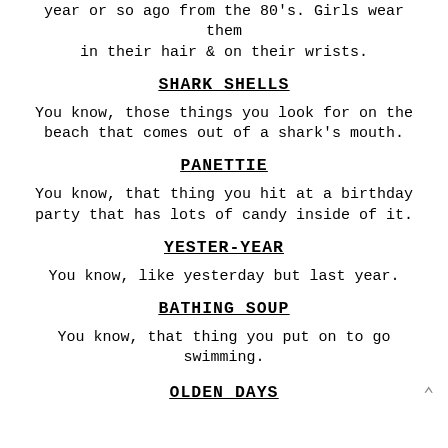year or so ago from the 80's. Girls wear them in their hair & on their wrists.
SHARK SHELLS
You know, those things you look for on the beach that comes out of a shark's mouth.
PANETTIE
You know, that thing you hit at a birthday party that has lots of candy inside of it.
YESTER-YEAR
You know, like yesterday but last year.
BATHING SOUP
You know, that thing you put on to go swimming.
OLDEN DAYS